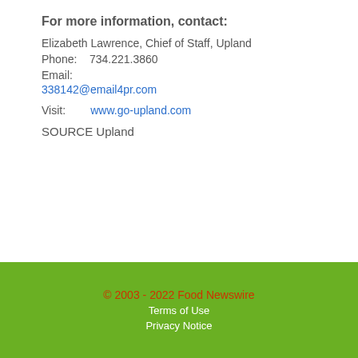For more information, contact:
Elizabeth Lawrence, Chief of Staff, Upland
Phone:    734.221.3860
Email:
338142@email4pr.com
Visit:          www.go-upland.com
SOURCE Upland
© 2003 - 2022 Food Newswire
Terms of Use
Privacy Notice